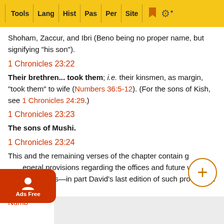Tools | Lang | Hist | Pas | Per | Site
Shoham, Zaccur, and Ibri (Beno being no proper name, but signifying "his son").
1 Chronicles 23:22
Their brethren... took them; i.e. their kinsmen, as margin, "took them" to wife (Numbers 36:5-12). (For the sons of Kish, see 1 Chronicles 24:29.)
1 Chronicles 23:23
The sons of Mushi.
1 Chronicles 23:24
This and the remaining verses of the chapter contain general provisions regarding the offices and future work of the Levites—in part David's last edition of such provisions. (On th... 4:1-3, Numb... bers 8:22...